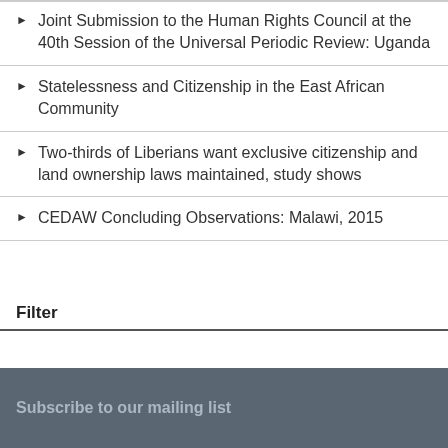Joint Submission to the Human Rights Council at the 40th Session of the Universal Periodic Review: Uganda
Statelessness and Citizenship in the East African Community
Two-thirds of Liberians want exclusive citizenship and land ownership laws maintained, study shows
CEDAW Concluding Observations: Malawi, 2015
Filter
Subscribe to our mailing list